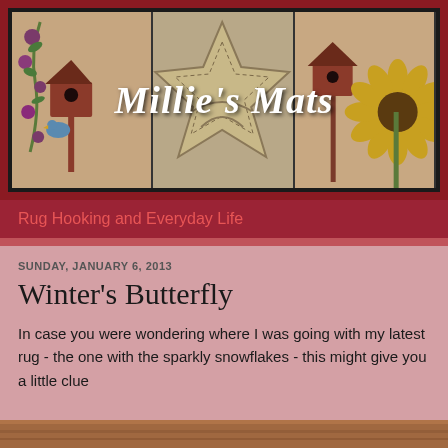[Figure (photo): Blog header banner showing three panels of rug hooking artwork: left panel shows a birdhouse with a blue bird and purple flowers, middle panel shows a primitive star shape, right panel shows a birdhouse and sunflower. The title 'Millie's Mats' is overlaid in white italic script.]
Millie's Mats
Rug Hooking and Everyday Life
SUNDAY, JANUARY 6, 2013
Winter's Butterfly
In case you were wondering where I was going with my latest rug - the one with the sparkly snowflakes - this might give you a little clue
[Figure (photo): Partial view of a rug or textile artwork at the bottom of the page]